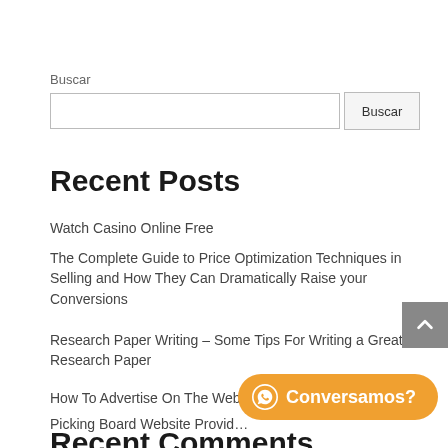Buscar
Buscar [search input and button]
Recent Posts
Watch Casino Online Free
The Complete Guide to Price Optimization Techniques in Selling and How They Can Dramatically Raise your Conversions
Research Paper Writing – Some Tips For Writing a Great Research Paper
How To Advertise On The Web
Picking Board Website Provid…
Recent Comments